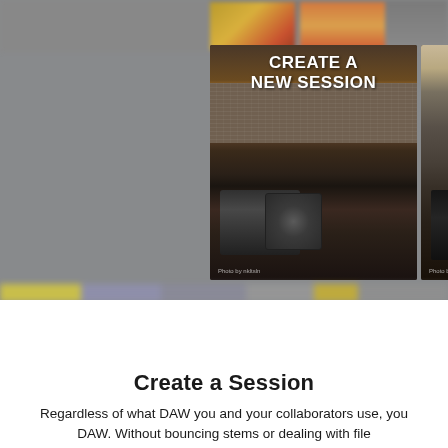[Figure (screenshot): Screenshot of a music collaboration software interface showing two session cards: 'CREATE A NEW SESSION' (left card with studio/amp photo) and 'JOIN SESSION' (right card with piano/musician photo), with blurred DAW UI elements below.]
Create a Session
Regardless of what DAW you and your collaborators use, you DAW. Without bouncing stems or dealing with file